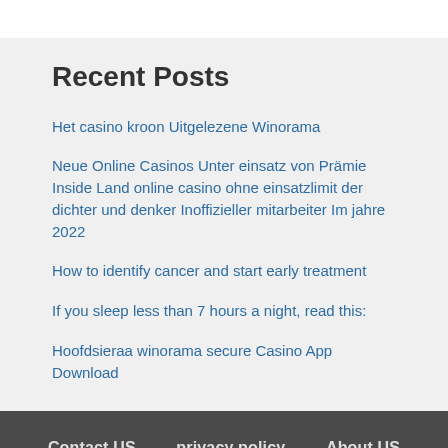Recent Posts
Het casino kroon Uitgelezene Winorama
Neue Online Casinos Unter einsatz von Prämie Inside Land online casino ohne einsatzlimit der dichter und denker Inoffizieller mitarbeiter Im jahre 2022
How to identify cancer and start early treatment
If you sleep less than 7 hours a night, read this:
Hoofdsieraa winorama secure Casino App Download
Contact US   privacy policy   About US
Copyright © 2022